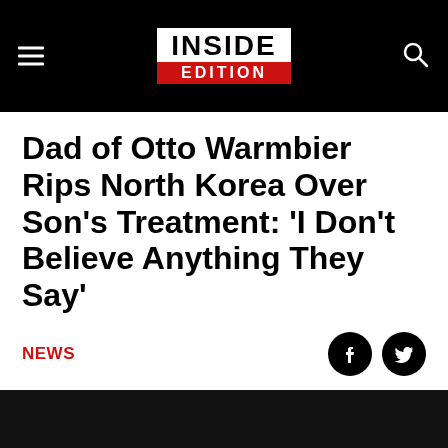INSIDE EDITION
Dad of Otto Warmbier Rips North Korea Over Son's Treatment: 'I Don't Believe Anything They Say'
NEWS
[Figure (photo): Dark/black image area placeholder for article photo]